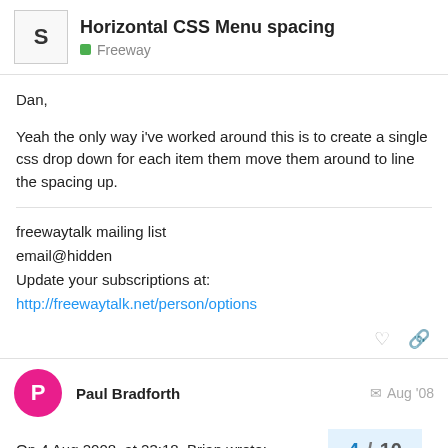Horizontal CSS Menu spacing — Freeway
Dan,
Yeah the only way i've worked around this is to create a single css drop down for each item them move them around to line the spacing up.
freewaytalk mailing list
email@hidden
Update your subscriptions at:
http://freewaytalk.net/person/options
Paul Bradforth — Aug '08
On 4 Aug 2008, at 23:18, Brian wrote:
4 / 10